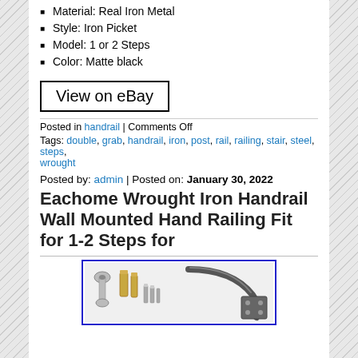Material: Real Iron Metal
Style: Iron Picket
Model: 1 or 2 Steps
Color: Matte black
View on eBay
Posted in handrail | Comments Off
Tags: double, grab, handrail, iron, post, rail, railing, stair, steel, steps, wrought
Posted by: admin | Posted on: January 30, 2022
Eachome Wrought Iron Handrail Wall Mounted Hand Railing Fit for 1-2 Steps for
[Figure (photo): Photo of wrought iron handrail hardware including wrenches, bolts, anchors and a curved iron handrail bracket against white background, shown inside a blue-bordered box]